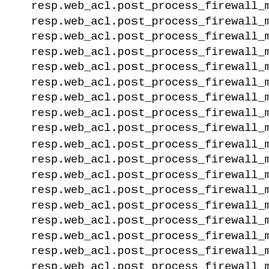resp.web_acl.post_process_firewall_manager_rule
resp.web_acl.post_process_firewall_manager_rule
resp.web_acl.post_process_firewall_manager_rule
resp.web_acl.post_process_firewall_manager_rule
resp.web_acl.post_process_firewall_manager_rule
resp.web_acl.post_process_firewall_manager_rule
resp.web_acl.post_process_firewall_manager_rule
resp.web_acl.post_process_firewall_manager_rule
resp.web_acl.post_process_firewall_manager_rule
resp.web_acl.post_process_firewall_manager_rule
resp.web_acl.post_process_firewall_manager_rule
resp.web_acl.post_process_firewall_manager_rule
resp.web_acl.post_process_firewall_manager_rule
resp.web_acl.post_process_firewall_manager_rule
resp.web_acl.post_process_firewall_manager_rule
resp.web_acl.post_process_firewall_manager_rule
resp.web_acl.post_process_firewall_manager_rule
resp.web_acl.post_process_firewall_manager_rule
resp.web_acl.post_process_firewall_manager_rule
resp.web_acl.post_process_firewall_manager_rule
resp.web_acl.post_process_firewall_manager_rule
resp.web_acl.post_process_firewall_manager_rule
resp.web_acl.post_process_firewall_manager_rule
resp.web_acl.post_process_firewall_manager_rule